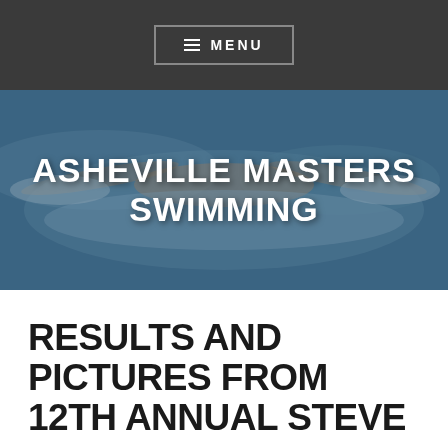≡ MENU
[Figure (photo): Swimmer doing butterfly stroke in a pool, aerial view with splashing water. Site header banner for Asheville Masters Swimming.]
ASHEVILLE MASTERS SWIMMING
RESULTS AND PICTURES FROM 12TH ANNUAL STEVE